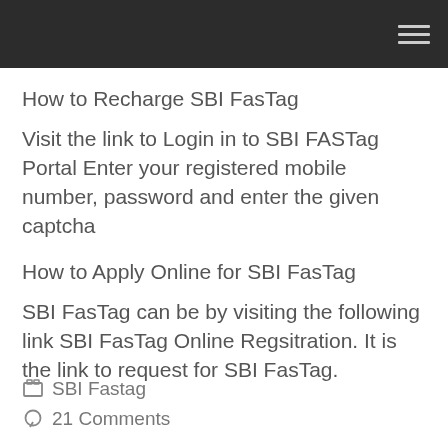How to Recharge SBI FasTag
Visit the link to Login in to SBI FASTag Portal Enter your registered mobile number, password and enter the given captcha
How to Apply Online for SBI FasTag
SBI FasTag can be by visiting the following link SBI FasTag Online Regsitration. It is the link to request for SBI FasTag.
SBI Fastag  21 Comments